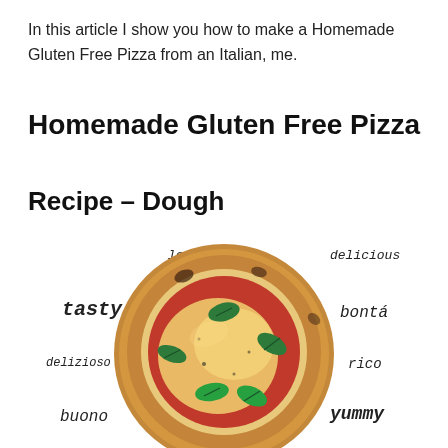In this article I show you how to make a Homemade Gluten Free Pizza from an Italian, me.
Homemade Gluten Free Pizza
Recipe – Dough
[Figure (photo): A margherita pizza on a wooden board, surrounded by handwritten-style words in multiple languages: lecker, delicious, tasty, bontá, delizioso, rico, buono, yummy]